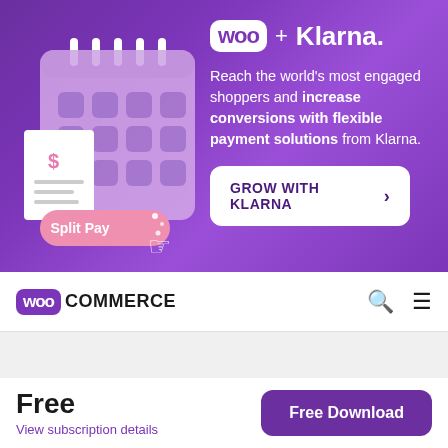[Figure (illustration): Purple gradient banner with WooCommerce + Klarna branding. Left side shows an illustrated calendar/planner with circular icons and a 'Split Pay' pink button with a hand cursor. Right side shows Woo logo + Klarna text, tagline about reaching engaged shoppers, and a 'GROW WITH KLARNA' call-to-action button.]
Woo + Klarna.
Reach the world's most engaged shoppers and increase conversions with flexible payment solutions from Klarna.
GROW WITH KLARNA >
[Figure (logo): WooCommerce logo with Woo in purple bubble and COMMERCE in black uppercase text, search icon and hamburger menu on the right]
Free
View subscription details
Free Download